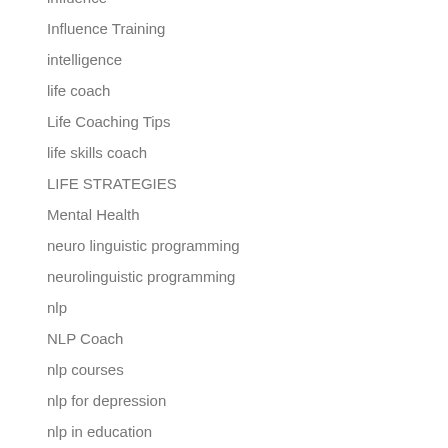influence
Influence Training
intelligence
life coach
Life Coaching Tips
life skills coach
LIFE STRATEGIES
Mental Health
neuro linguistic programming
neurolinguistic programming
nlp
NLP Coach
nlp courses
nlp for depression
nlp in education